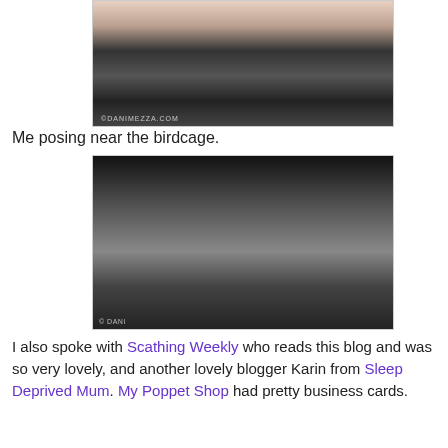[Figure (photo): Color photo of two women posing together; one in black top, one in white jacket with a pink feather fan and novelty glasses, in front of a colorful patterned backdrop. Watermark: ©DANIMEZZA.COM]
Me posing near the birdcage.
[Figure (photo): Black and white photo of a woman wearing large novelty white glasses and a white jacket, posing near a birdcage. Watermark: © DANI]
I also spoke with Scathing Weekly who reads this blog and was so very lovely, and another lovely blogger Karin from Sleep Deprived Mum. My Poppet Shop had pretty business cards.